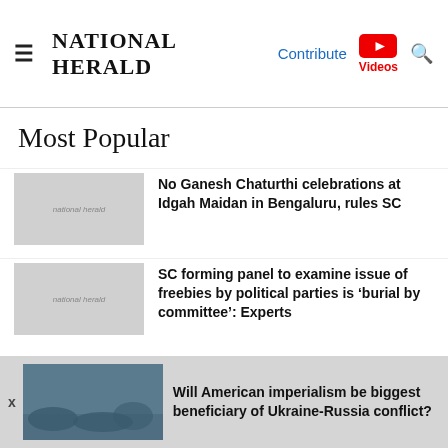NATIONAL HERALD
Most Popular
No Ganesh Chaturthi celebrations at Idgah Maidan in Bengaluru, rules SC
SC forming panel to examine issue of freebies by political parties is ‘burial by committee’: Experts
Will American imperialism be biggest beneficiary of Ukraine-Russia conflict?